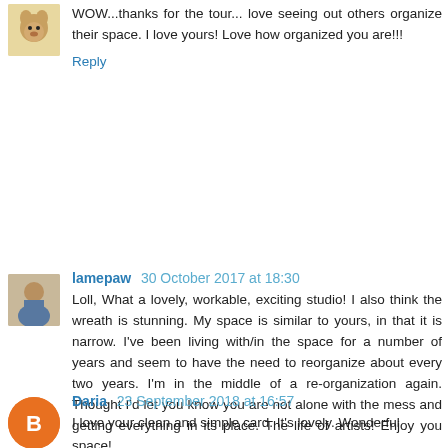WOW...thanks for the tour... love seeing out others organize their space. I love yours! Love how organized you are!!!
Reply
lamepaw 30 October 2017 at 18:30
Loll, What a lovely, workable, exciting studio! I also think the wreath is stunning. My space is similar to yours, in that it is narrow. I've been living with/in the space for a number of years and seem to have the need to reorganize about every two years. I'm in the middle of a re-organization again. Thought I'd let you know you are not alone with the mess and getting everything in its place. The life of artists! Enjoy you space!
Reply
Daria 23 September 2018 at 16:57
I love your clean and simple card. It's lovely. Wonderful